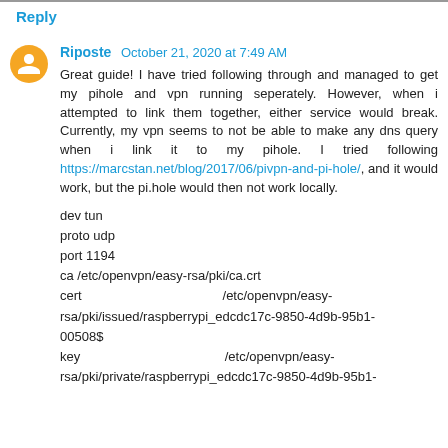Reply
Riposte  October 21, 2020 at 7:49 AM
Great guide! I have tried following through and managed to get my pihole and vpn running seperately. However, when i attempted to link them together, either service would break. Currently, my vpn seems to not be able to make any dns query when i link it to my pihole. I tried following https://marcstan.net/blog/2017/06/pivpn-and-pi-hole/, and it would work, but the pi.hole would then not work locally.
dev tun
proto udp
port 1194
ca /etc/openvpn/easy-rsa/pki/ca.crt
cert                                          /etc/openvpn/easy-rsa/pki/issued/raspberrypi_edcdc17c-9850-4d9b-95b1-00508$
key                                           /etc/openvpn/easy-rsa/pki/private/raspberrypi_edcdc17c-9850-4d9b-95b1-